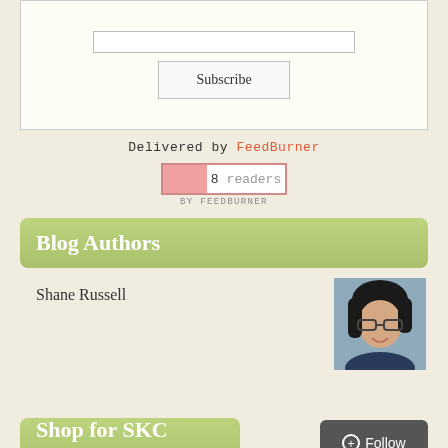[Figure (screenshot): Subscribe button and input field inside a light-colored box]
Delivered by FeedBurner
[Figure (other): FeedBurner readers badge showing '8 readers' with pink bar and BY FEEDBURNER text below]
Blog Authors
Shane Russell
[Figure (photo): Profile photo of a woman with dark hair and glasses, smiling]
Shop for SKC Merch!